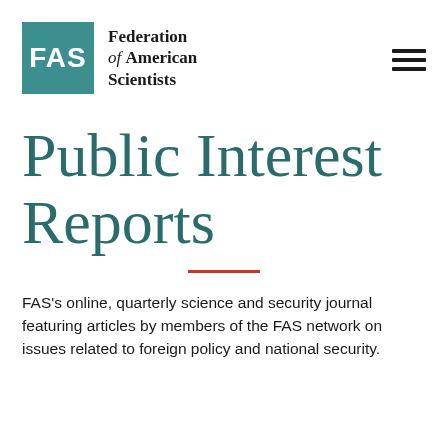[Figure (logo): Federation of American Scientists (FAS) logo — teal square with white FAS text, beside the organization name in serif font]
Public Interest Reports
FAS's online, quarterly science and security journal featuring articles by members of the FAS network on issues related to foreign policy and national security.